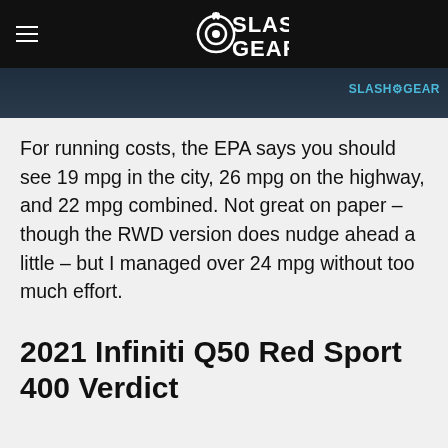SlashGear
[Figure (screenshot): SlashGear website hero image strip with watermark]
For running costs, the EPA says you should see 19 mpg in the city, 26 mpg on the highway, and 22 mpg combined. Not great on paper – though the RWD version does nudge ahead a little – but I managed over 24 mpg without too much effort.
2021 Infiniti Q50 Red Sport 400 Verdict